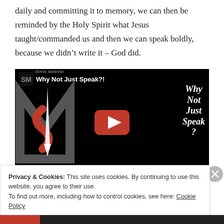daily and committing it to memory, we can then be reminded by the Holy Spirit what Jesus taught/commanded us and then we can speak boldly, because we didn't write it – God did.
[Figure (screenshot): YouTube video embed thumbnail showing 'Why Not Just Speak?!' title with Serve Mankind channel logo and large YouTube play button on black background with stylized SM logo graphic and italic text 'Why Not Just Speak?' on the right side.]
Privacy & Cookies: This site uses cookies. By continuing to use this website, you agree to their use.
To find out more, including how to control cookies, see here: Cookie Policy
Close and accept